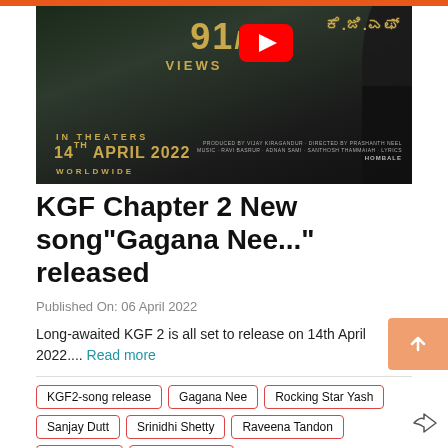[Figure (screenshot): YouTube video thumbnail for KGF Chapter 2 showing 91M views, release date 14th April 2022 Worldwide, with YouTube play button icon and film title in Kannada script]
KGF Chapter 2 New song"Gagana Nee..." released
Published On: 06 April 2022
Long-awaited KGF 2 is all set to release on 14th April 2022.... Read more
KGF2-song release
Gagana Nee
Rocking Star Yash
Sanjay Dutt
Srinidhi Shetty
Raveena Tandon
Prakash Raj
Prashanth Neel